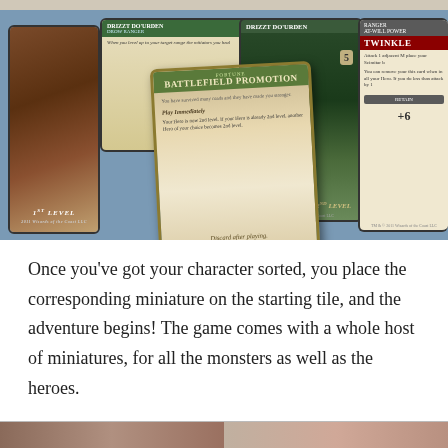[Figure (photo): A tabletop game scene showing several cards laid out on a blue surface. Cards visible include a warrior character card labeled '1st LEVEL', a 'DRIZZT DO'URDEN DROW RANGER' card, a 'FORTUNE BATTLEFIELD PROMOTION' card in the center, a green figure card, and a 'RANGER AT-WILL POWER TWINKLE' card on the right. Two yellow circular tokens are also visible.]
Once you've got your character sorted, you place the corresponding miniature on the starting tile, and the adventure begins! The game comes with a whole host of miniatures, for all the monsters as well as the heroes.
[Figure (photo): Bottom strip showing partial images of game miniatures or cards, cropped at the bottom of the page.]